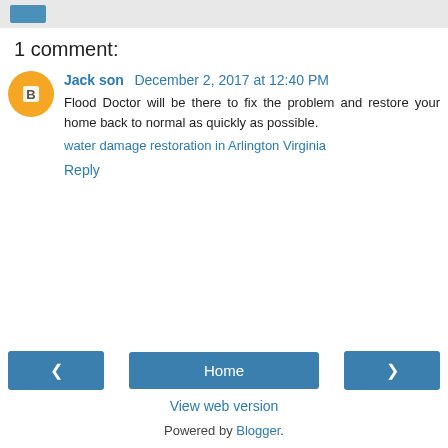[button]
1 comment:
Jack son December 2, 2017 at 12:40 PM
Flood Doctor will be there to fix the problem and restore your home back to normal as quickly as possible.
water damage restoration in Arlington Virginia
Reply
< Home > View web version Powered by Blogger.